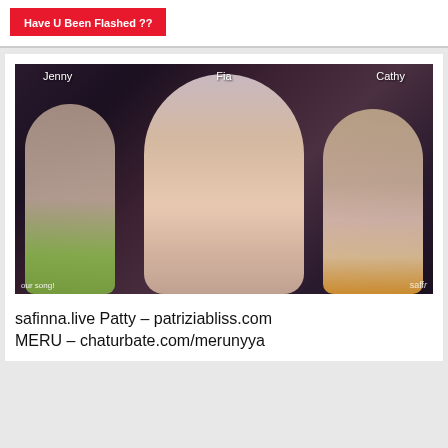Have U Been Flashed ??
[Figure (photo): Screenshot of a webcam stream showing three women labeled Jenny (left), Fia (center, blonde with red lipstick), and Cathy (right). Text overlay at bottom left reads 'our song!' and watermark 'saffr' at bottom right.]
safinna.live Patty – patriziabliss.com MERU – chaturbate.com/merunyya